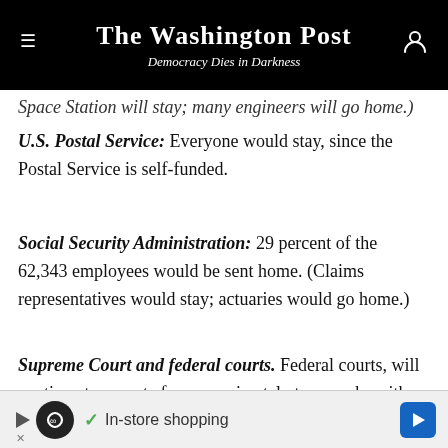The Washington Post — Democracy Dies in Darkness
Space Station will stay; many engineers will go home.)
U.S. Postal Service: Everyone would stay, since the Postal Service is self-funded.
Social Security Administration: 29 percent of the 62,343 employees would be sent home. (Claims representatives would stay; actuaries would go home.)
Supreme Court and federal courts. Federal courts, will continue to operate for approximately two weeks with reserve funds. After that, only essential employees would continue to work, as determined by the chief
[Figure (other): Advertisement banner: In-store shopping ad with play button, infinity logo circle, checkmark, text and navigation arrow]